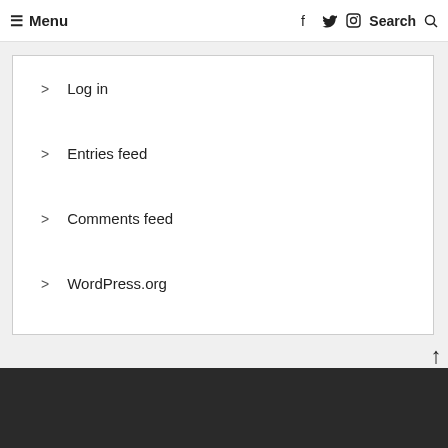≡ Menu   f  twitter  instagram  Search
Log in
Entries feed
Comments feed
WordPress.org
Back To Top